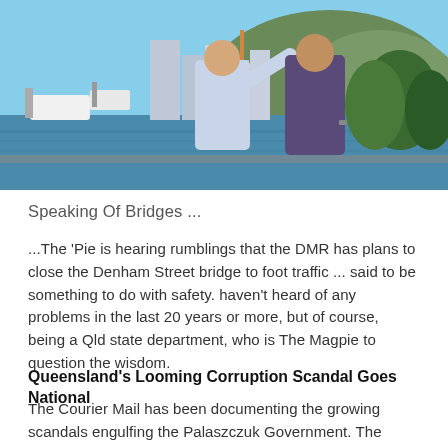[Figure (photo): Two men standing outdoors by a waterfront with boats, buildings and a hill in the background. One man points into the distance.]
Speaking Of Bridges ...
...The 'Pie is hearing rumblings that the DMR has plans to close the Denham Street bridge to foot traffic ... said to be something to do with safety. haven't heard of any problems in the last 20 years or more, but of course, being a Qld state department, who is The Magpie to question the wisdom.
Queensland's Looming Corruption Scandal Goes National
The Courier Mail has been documenting the growing scandals engulfing the Palaszczuk Government. The reporting has been dogged and solid and had some effect, with union influence a recurring topic ... the Courier's Labb